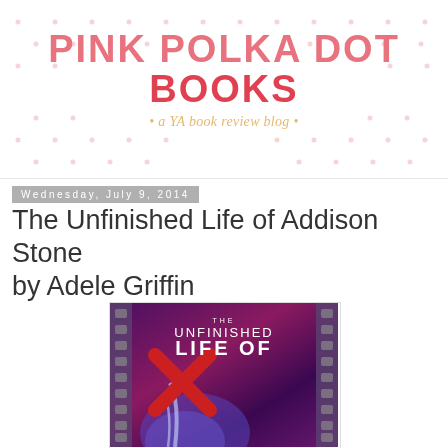PINK POLKA DOT BOOKS · a YA book review blog
Wednesday, July 9, 2014
The Unfinished Life of Addison Stone by Adele Griffin
[Figure (photo): Book cover of 'The Unfinished Life of' showing stylized text with film strip borders, a red X symbol, and colorful hair against a dark purple/pink background]